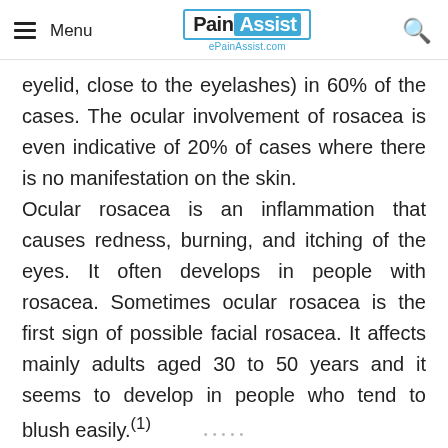Menu | PainAssist ePainAssist.com | [search]
eyelid, close to the eyelashes) in 60% of the cases. The ocular involvement of rosacea is even indicative of 20% of cases where there is no manifestation on the skin.
Ocular rosacea is an inflammation that causes redness, burning, and itching of the eyes. It often develops in people with rosacea. Sometimes ocular rosacea is the first sign of possible facial rosacea. It affects mainly adults aged 30 to 50 years and it seems to develop in people who tend to blush easily.(1)